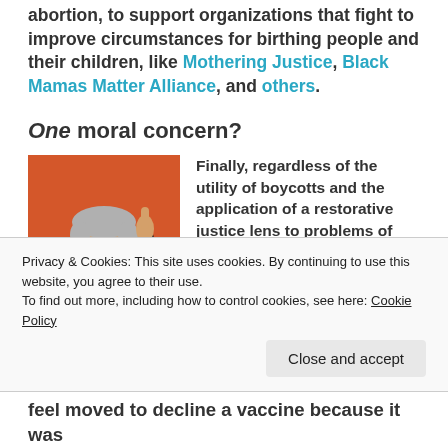abortion, to support organizations that fight to improve circumstances for birthing people and their children, like Mothering Justice, Black Mamas Matter Alliance, and others.
One moral concern?
[Figure (illustration): Illustration of a grey-haired person in a black suit raising one finger, against an orange background]
Finally, regardless of the utility of boycotts and the application of a restorative justice lens to problems of fairness and equality, is there ever a world in which one
Privacy & Cookies: This site uses cookies. By continuing to use this website, you agree to their use.
To find out more, including how to control cookies, see here: Cookie Policy
feel moved to decline a vaccine because it was